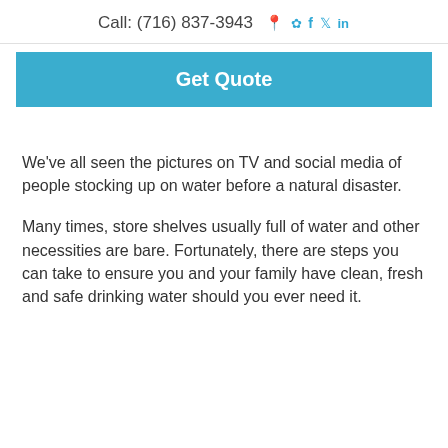Call: (716) 837-3943
Get Quote
We've all seen the pictures on TV and social media of people stocking up on water before a natural disaster.
Many times, store shelves usually full of water and other necessities are bare. Fortunately, there are steps you can take to ensure you and your family have clean, fresh and safe drinking water should you ever need it.